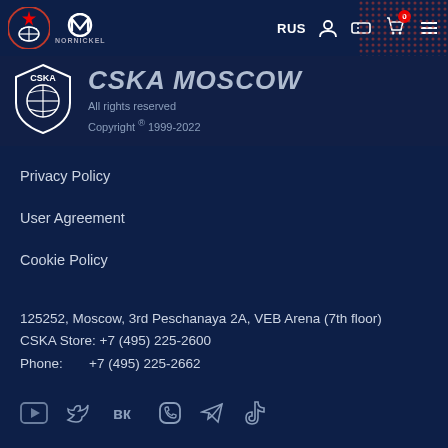[Figure (screenshot): CSKA Moscow website navigation bar with CSKA logo, Nornickel sponsor logo, RUS language selector, user icon, ticket icon, cart icon with badge '0', and hamburger menu]
CSKA Moscow
All rights reserved
Copyright ® 1999-2022
Privacy Policy
User Agreement
Cookie Policy
125252, Moscow, 3rd Peschanaya 2A, VEB Arena (7th floor)
CSKA Store: +7 (495) 225-2600
Phone:        +7 (495) 225-2662
[Figure (logo): Social media icons row: YouTube, Twitter, VK, Viber, Telegram, TikTok]